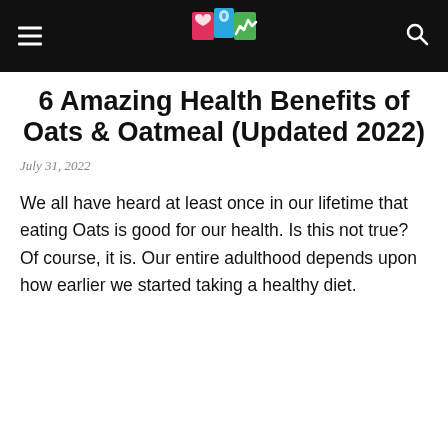6 Amazing Health Benefits of Oats & Oatmeal (Updated 2022)
July 31, 2022
We all have heard at least once in our lifetime that eating Oats is good for our health. Is this not true? Of course, it is. Our entire adulthood depends upon how earlier we started taking a healthy diet.